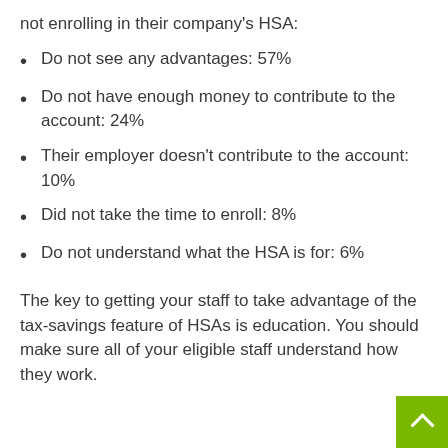not enrolling in their company's HSA:
Do not see any advantages: 57%
Do not have enough money to contribute to the account: 24%
Their employer doesn't contribute to the account: 10%
Did not take the time to enroll: 8%
Do not understand what the HSA is for: 6%
The key to getting your staff to take advantage of the tax-savings feature of HSAs is education. You should make sure all of your eligible staff understand how they work.